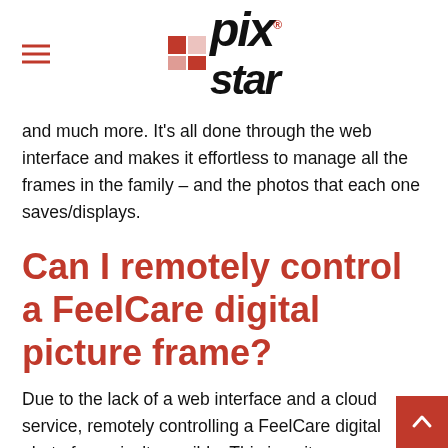pix*star
and much more. It's all done through the web interface and makes it effortless to manage all the frames in the family – and the photos that each one saves/displays.
Can I remotely control a FeelCare digital picture frame?
Due to the lack of a web interface and a cloud service, remotely controlling a FeelCare digital photo frame isn't possible. This is quite a disadvantage as similarly priced digital frames like the Pix-Star offer extensive remote-control functionality and control. You essentially have the same level of control over the frame that you'd have if you were using it in person. It's a very handy feature for elderly users with b